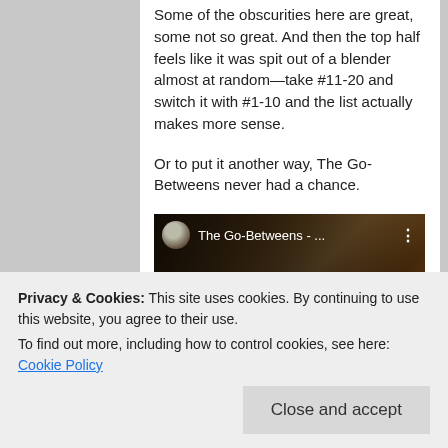Some of the obscurities here are great, some not so great. And then the top half feels like it was spit out of a blender almost at random—take #11-20 and switch it with #1-10 and the list actually makes more sense.
Or to put it another way, The Go-Betweens never had a chance.
[Figure (screenshot): YouTube video thumbnail showing 'The Go-Betweens - ...' with a red play button in the center, dark cinematic background with figures visible.]
Privacy & Cookies: This site uses cookies. By continuing to use this website, you agree to their use.
To find out more, including how to control cookies, see here: Cookie Policy
evaluate it from up on high' style I find so grating on that site. For example, someone writes in the